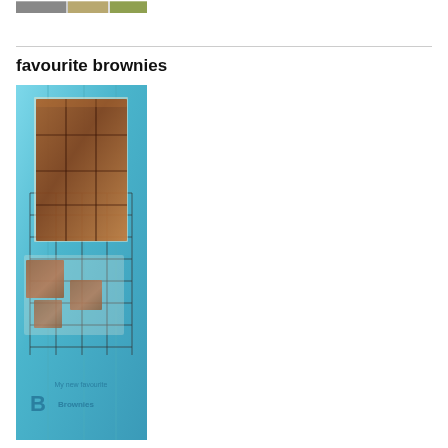[Figure (photo): Partial top image of a room or shelf scene cropped at the top of the page]
favourite brownies
[Figure (photo): Book cover photo showing chocolate brownies cut into squares arranged on a cooling rack against a teal/turquoise painted wood background. Text on the image reads 'My new favourite Brownies'.]